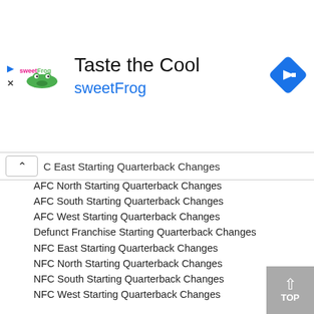[Figure (logo): sweetFrog frozen yogurt advertisement banner with logo, 'Taste the Cool' headline, blue navigation arrow icon, play and close controls]
C East Starting Quarterback Changes
AFC North Starting Quarterback Changes
AFC South Starting Quarterback Changes
AFC West Starting Quarterback Changes
Defunct Franchise Starting Quarterback Changes
NFC East Starting Quarterback Changes
NFC North Starting Quarterback Changes
NFC South Starting Quarterback Changes
NFC West Starting Quarterback Changes
NFL tiebreakers
Order Confirmation
Order Failed